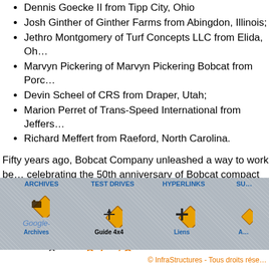Dennis Goecke II from Tipp City, Ohio
Josh Ginther of Ginther Farms from Abingdon, Illinois;
Jethro Montgomery of Turf Concepts LLC from Elida, Oh…
Marvyn Pickering of Marvyn Pickering Bobcat from Porc…
Devin Scheel of CRS from Draper, Utah;
Marion Perret of Trans-Speed International from Jeffers…
Richard Meffert from Raeford, North Carolina.
Fifty years ago, Bobcat Company unleashed a way to work be… celebrating the 50th anniversary of Bobcat compact equipmen… a three-wheeled front-end loader - in 1958. That machine evol… worldwide compact equipment industry. Today, Bobcat continu… distribution of compact equipment.
Source: Bobcat Company
[Figure (infographic): Navigation bar with diamond-shaped icons for ARCHIVES (Google Archives), TEST DRIVES (Guide 4x4), HYPERLINKS (Liens), and a partially visible fourth section on a diamond-plate metal background.]
© InfraStructures - Tous droits rése…